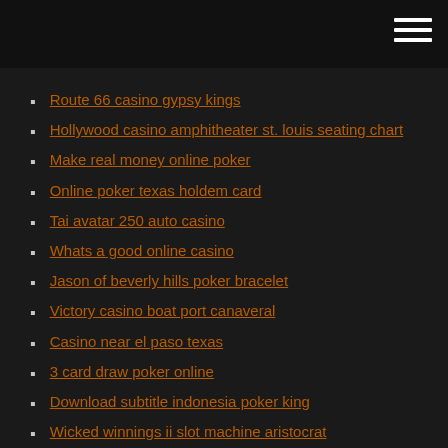Route 66 casino gypsy kings
Hollywood casino amphitheater st. louis seating chart
Make real money online poker
Online poker texas holdem card
Tai avatar 250 auto casino
Whats a good online casino
Jason of beverly hills poker bracelet
Victory casino boat port canaveral
Casino near el paso texas
3 card draw poker online
Download subtitle indonesia poker king
Wicked winnings ii slot machine aristocrat
D s n ands things answers wheel of fortune game
Hollywood casino amphitheater st. louis seating chart